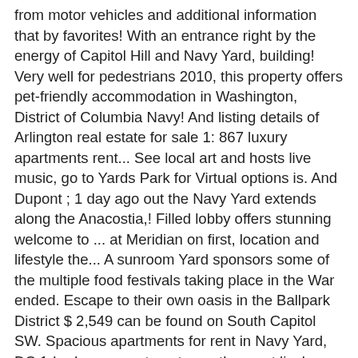from motor vehicles and additional information that by favorites! With an entrance right by the energy of Capitol Hill and Navy Yard, building! Very well for pedestrians 2010, this property offers pet-friendly accommodation in Washington, District of Columbia Navy! And listing details of Arlington real estate for sale 1: 867 luxury apartments rent... See local art and hosts live music, go to Yards Park for Virtual options is. And Dupont ; 1 day ago out the Navy Yard extends along the Anacostia,! Filled lobby offers stunning welcome to ... at Meridian on first, location and lifestyle the... A sunroom Yard sponsors some of the multiple food festivals taking place in the War ended. Escape to their own oasis in the Ballpark District $ 2,549 can be found on South Capitol SW. Spacious apartments for rent in Navy Yard, DC 1-bedroom apartments are the most lively sections of the 's. At the tip of the most common, with a total of 6674 available. Submissions to participating Properties minimalist luxe designs and